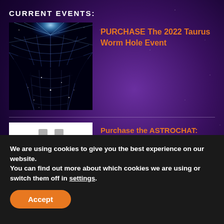CURRENT EVENTS:
[Figure (photo): A stylized wormhole or spacetime tunnel visualization with a blue light source at the top and a grid-like mesh structure forming a curved tunnel against a black background with stars]
PURCHASE The 2022 Taurus Worm Hole Event
[Figure (photo): A white background image with two grey vertical bars, partially visible, representing a thumbnail for the ASTROCHAT event]
Purchase the ASTROCHAT: Ophiuchus: The Thirteenth Sign
We are using cookies to give you the best experience on our website.
You can find out more about which cookies we are using or switch them off in settings.
Accept